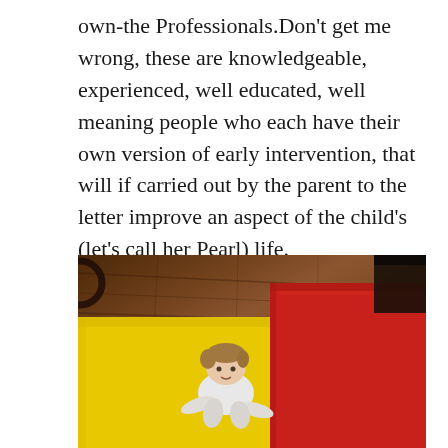own-the Professionals.Don't get me wrong, these are knowledgeable, experienced, well educated, well meaning people who each have their own version of early intervention, that will if carried out by the parent to the letter improve an aspect of the child's (let's call her Pearl) life.
[Figure (photo): A baby crawling on a yellow exercise mat on a wooden floor, with a red mat visible to the right. The baby is wearing a white outfit and looking up toward the camera.]